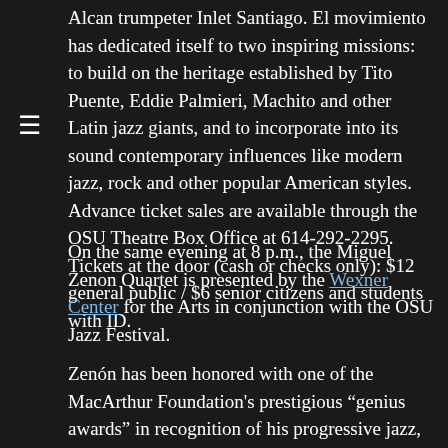Alcan trumpeter Inlet Santiago. El movimiento has dedicated itself to two inspiring missions: to build on the heritage established by Tito Puente, Eddie Palmieri, Machito and other Latin jazz giants, and to incorporate into its sound contemporary influences like modern jazz, rock and other popular American styles. Advance ticket sales are available through the OSU Theatre Box Office at 614-292-2295. Tickets at the door (cash or checks only): $12 general public / $6 senior citizens and students with ID.
On the same evening at 8 p.m., the Miguel Zenon Quartet is presented by the Wexner Center for the Arts in conjunction with the OSU Jazz Festival.
Zenón has been honored with one of the MacArthur Foundation's prestigious “genius awards” in recognition of his progressive jazz, which plumbs the depths of Latin music – particularly the roots of his own heritage in